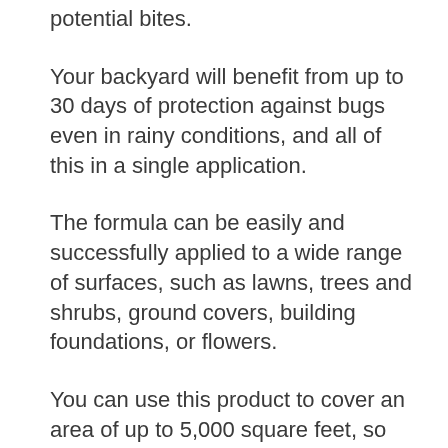potential bites.
Your backyard will benefit from up to 30 days of protection against bugs even in rainy conditions, and all of this in a single application.
The formula can be easily and successfully applied to a wide range of surfaces, such as lawns, trees and shrubs, ground covers, building foundations, or flowers.
You can use this product to cover an area of up to 5,000 square feet, so it’s an excellent solution for a wide range of properties.